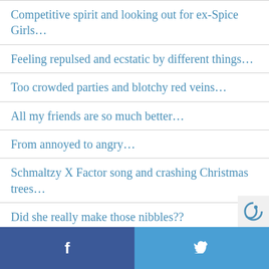Competitive spirit and looking out for ex-Spice Girls…
Feeling repulsed and ecstatic by different things…
Too crowded parties and blotchy red veins…
All my friends are so much better…
From annoyed to angry…
Schmaltzy X Factor song and crashing Christmas trees…
Did she really make those nibbles??